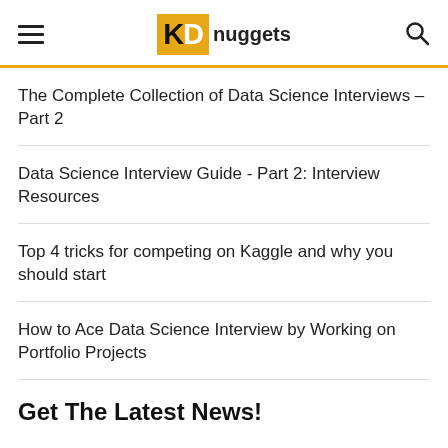KDnuggets
The Complete Collection of Data Science Interviews – Part 2
Data Science Interview Guide - Part 2: Interview Resources
Top 4 tricks for competing on Kaggle and why you should start
How to Ace Data Science Interview by Working on Portfolio Projects
Get The Latest News!